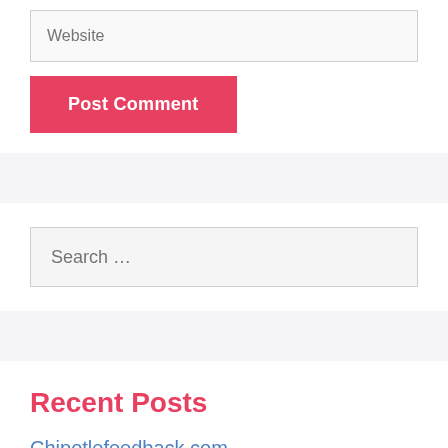Website
Post Comment
Search …
Recent Posts
Chipotlefeedback.com